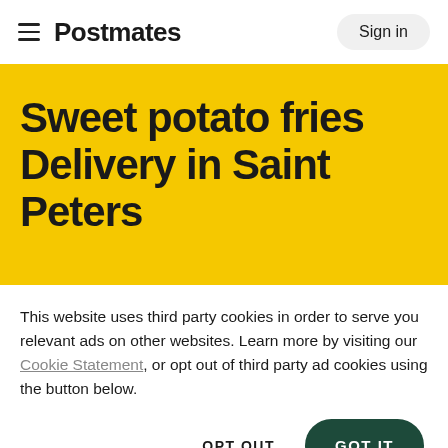≡  Postmates  Sign in
Sweet potato fries Delivery in Saint Peters
This website uses third party cookies in order to serve you relevant ads on other websites. Learn more by visiting our Cookie Statement, or opt out of third party ad cookies using the button below.
OPT OUT  GOT IT